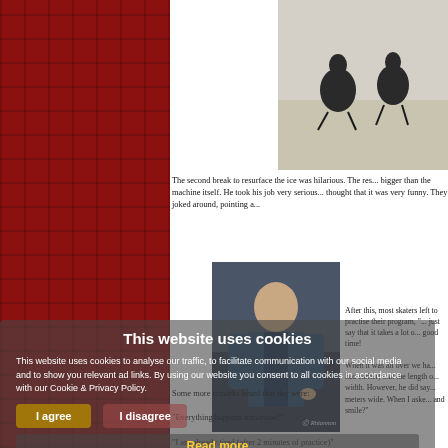[Figure (photo): Top-right photo of ice skaters on an ice rink]
The second break to resurface the ice was hilarious. The res... bigger than the machine itself. He took his job very serious... thought that it was very funny. They joked around, pointing a...
[Figure (photo): Middle photo of a man in a suit/vest on stage]
After this, most skaters left to practise their program, "... just say that it takes a lot o... good time! When it was all over we ha... had earlier) that the length o... width. However, he did say... meters wide. When I aske... and smile?"
Some more remarks heard that day were:
"Everything happens tomorrow!"
"I am already tired (after 2 minutes of practice)"
This website uses cookies to analyse our traffic, to facilitate communication with our social media and to show you relevant ad links. By using our website you consent to all cookies in accordance with our Cookie & Privacy Policy.